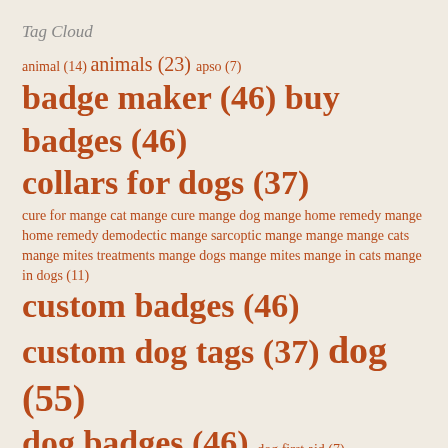Tag Cloud
animal (14) animals (23) apso (7) badge maker (46) buy badges (46) collars for dogs (37) cure for mange cat mange cure mange dog mange home remedy mange home remedy demodectic mange sarcoptic mange mange mange cats mange mites treatments mange dogs mange mites mange in cats mange in dogs (11) custom badges (46) custom dog tags (37) dog (55) dog badges (46) dog first aid (7) dog patches (47) dog protection (37) dogs (35) dogs collars (37)